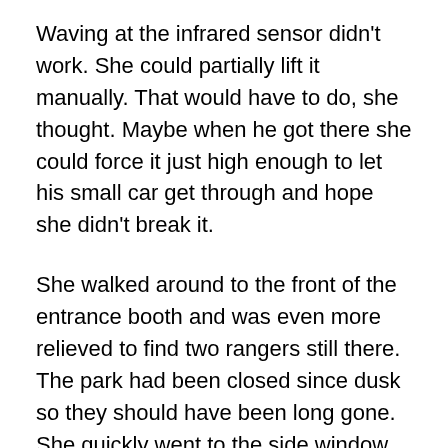Waving at the infrared sensor didn't work. She could partially lift it manually. That would have to do, she thought. Maybe when he got there she could force it just high enough to let his small car get through and hope she didn't break it.
She walked around to the front of the entrance booth and was even more relieved to find two rangers still there. The park had been closed since dusk so they should have been long gone. She quickly went to the side window and knocked. Would they answer her or ignore her since it was after hours?
The second time she knocked got their attention.